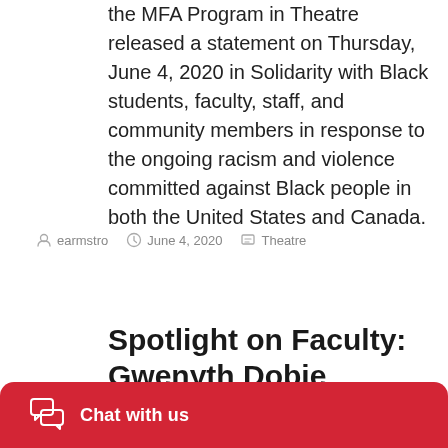the MFA Program in Theatre released a statement on Thursday, June 4, 2020 in Solidarity with Black students, faculty, staff, and community members in response to the ongoing racism and violence committed against Black people in both the United States and Canada.
earmstro  June 4, 2020  Theatre
Spotlight on Faculty: Gwenyth Dobie
Chat with us